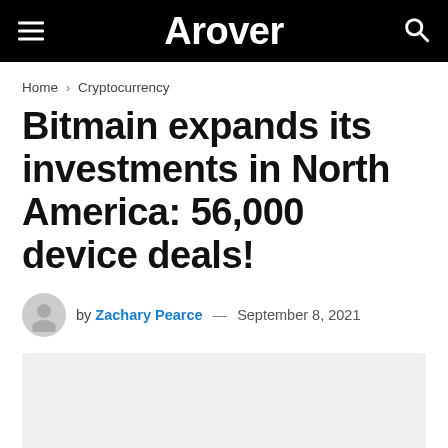Arover
Home › Cryptocurrency
Bitmain expands its investments in North America: 56,000 device deals!
by Zachary Pearce — September 8, 2021
[Figure (photo): Featured image placeholder — light grey rectangle]